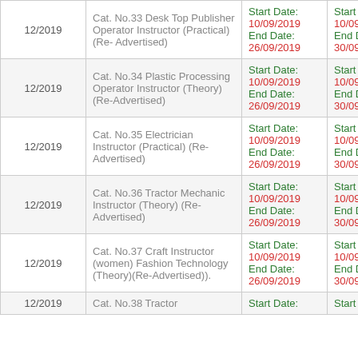|  | Position | Application Period | Closing Date |
| --- | --- | --- | --- |
| 12/2019 | Cat. No.33 Desk Top Publisher Operator Instructor (Practical) (Re- Advertised) | Start Date: 10/09/2019
End Date: 26/09/2019 | Start Date: 10/09/2019
End Date: 30/09/2019 |
| 12/2019 | Cat. No.34 Plastic Processing Operator Instructor (Theory)(Re-Advertised) | Start Date: 10/09/2019
End Date: 26/09/2019 | Start Date: 10/09/2019
End Date: 30/09/2019 |
| 12/2019 | Cat. No.35 Electrician Instructor (Practical) (Re-Advertised) | Start Date: 10/09/2019
End Date: 26/09/2019 | Start Date: 10/09/2019
End Date: 30/09/2019 |
| 12/2019 | Cat. No.36 Tractor Mechanic Instructor (Theory) (Re-Advertised) | Start Date: 10/09/2019
End Date: 26/09/2019 | Start Date: 10/09/2019
End Date: 30/09/2019 |
| 12/2019 | Cat. No.37 Craft Instructor (women) Fashion Technology (Theory)(Re-Advertised)). | Start Date: 10/09/2019
End Date: 26/09/2019 | Start Date: 10/09/2019
End Date: 30/09/2019 |
| 12/2019 | Cat. No.38 Tractor... | Start Date: | Start Date: |